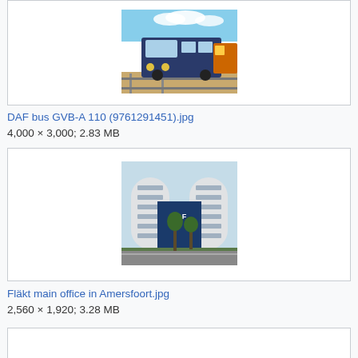[Figure (photo): DAF bus photographed at a depot with railway tracks, blue bus in foreground]
DAF bus GVB-A 110 (9761291451).jpg
4,000 × 3,000; 2.83 MB
[Figure (photo): Fläkt main office building in Amersfoort, modern cylindrical white office towers]
Fläkt main office in Amersfoort.jpg
2,560 × 1,920; 3.28 MB
[Figure (photo): Third gallery item, partially visible at bottom of page]